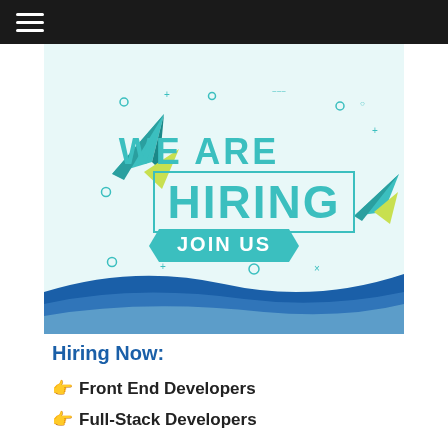[Figure (illustration): We Are Hiring Join Us recruitment banner with teal paper airplane graphics, geometric decorative elements, and blue wave design at the bottom]
Hiring Now:
Front End Developers
Full-Stack Developers